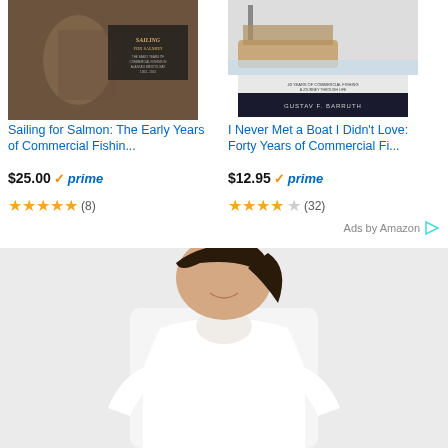[Figure (photo): Book cover for 'Sailing for Salmon: The Early Years of Commercial Fishing...' - sepia toned image]
Sailing for Salmon: The Early Years of Commercial Fishin...
$25.00 ✓prime
★★★★★ (8)
[Figure (photo): Book cover for 'I Never Met a Boat I Didn't Love: Forty Years of Commercial Fi...' by Gustav F. Barruth]
I Never Met a Boat I Didn't Love: Forty Years of Commercial Fi...
$12.95 ✓prime
★★★★☆ (32)
Ads by Amazon ▷
[Figure (photo): Partial image of a woman wearing a white long-sleeve shirt, smiling, against a light background]